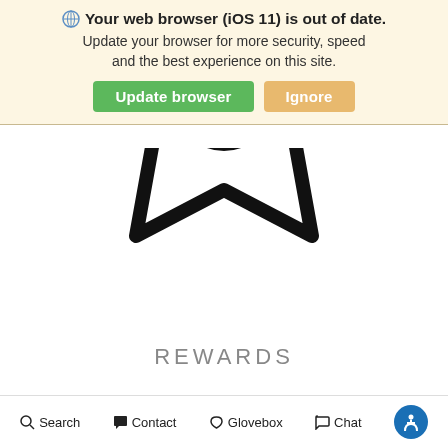Your web browser (iOS 11) is out of date. Update your browser for more security, speed and the best experience on this site. [Update browser] [Ignore]
[Figure (illustration): Partial star/badge icon outline in black on white background, cropped at top]
REWARDS
[Figure (illustration): Partial circular person/user icon outline in black on white background, cropped at bottom]
Search  Contact  Glovebox  Chat  [accessibility icon]